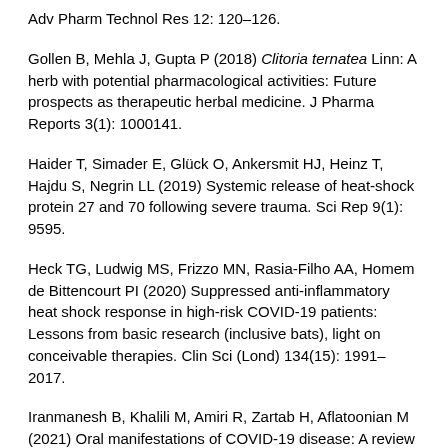Adv Pharm Technol Res 12: 120–126.
Gollen B, Mehla J, Gupta P (2018) Clitoria ternatea Linn: A herb with potential pharmacological activities: Future prospects as therapeutic herbal medicine. J Pharma Reports 3(1): 1000141.
Haider T, Simader E, Glück O, Ankersmit HJ, Heinz T, Hajdu S, Negrin LL (2019) Systemic release of heat-shock protein 27 and 70 following severe trauma. Sci Rep 9(1): 9595.
Heck TG, Ludwig MS, Frizzo MN, Rasia-Filho AA, Homem de Bittencourt PI (2020) Suppressed anti-inflammatory heat shock response in high-risk COVID-19 patients: Lessons from basic research (inclusive bats), light on conceivable therapies. Clin Sci (Lond) 134(15): 1991–2017.
Iranmanesh B, Khalili M, Amiri R, Zartab H, Aflatoonian M (2021) Oral manifestations of COVID-19 disease: A review